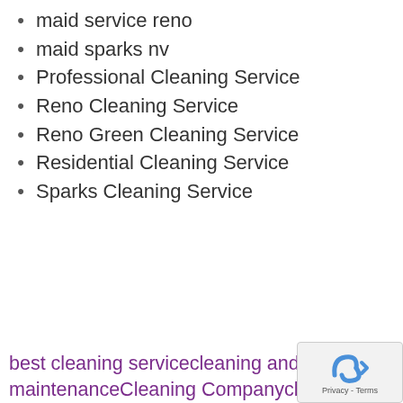maid service reno
maid sparks nv
Professional Cleaning Service
Reno Cleaning Service
Reno Green Cleaning Service
Residential Cleaning Service
Sparks Cleaning Service
best cleaning servicecleaning and maintenanceCleaning Companycleaning servicescleaning tipseco-friendly cleaning serviceGreen Cleaninggreen cleaning companygreen house cleanersgreen house cleaning servicehome cleaning companymoving cleaning serviceprofessional cleaning serviceReno cleaning serviceReno home cleaning companyReno spring cleaningSparks cleaning servicesparks house cleaning service